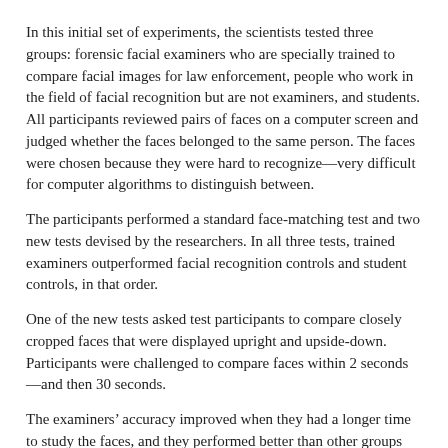In this initial set of experiments, the scientists tested three groups: forensic facial examiners who are specially trained to compare facial images for law enforcement, people who work in the field of facial recognition but are not examiners, and students. All participants reviewed pairs of faces on a computer screen and judged whether the faces belonged to the same person. The faces were chosen because they were hard to recognize—very difficult for computer algorithms to distinguish between.
The participants performed a standard face-matching test and two new tests devised by the researchers. In all three tests, trained examiners outperformed facial recognition controls and student controls, in that order.
One of the new tests asked test participants to compare closely cropped faces that were displayed upright and upside-down. Participants were challenged to compare faces within 2 seconds—and then 30 seconds.
The examiners' accuracy improved when they had a longer time to study the faces, and they performed better than other groups with the inverted faces.
“We developed this test to find out if examiners recognize faces differently than untrained people,” Phillips explains. “The results indicate that they do, and we think that their training may teach them to use additional cues. We want to learn precisely how the examiners tell the difference.”
In this perceptual test, the examiners had a time limit to make comparisons. In the laboratory, examiners have access to specialized tools and perform